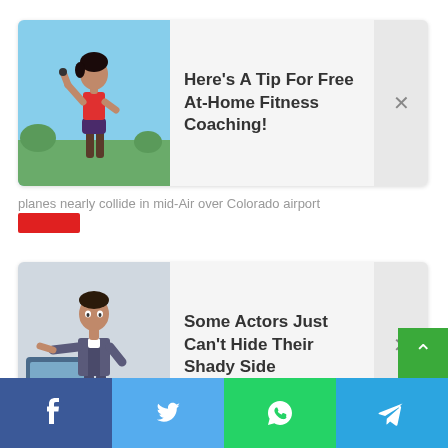[Figure (screenshot): Ad card 1: fitness woman photo thumbnail]
Here's A Tip For Free At-Home Fitness Coaching!
×
planes nearly collide in mid-Air over Colorado airport
[Figure (screenshot): Ad card 2: actor photo thumbnail]
Some Actors Just Can't Hide Their Shady Side
×
[Figure (infographic): Social share bar with Facebook, Twitter, WhatsApp, Telegram icons]